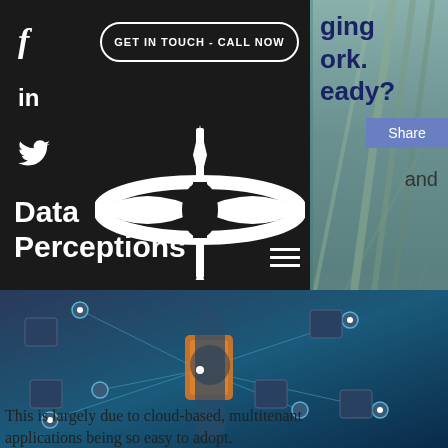[Figure (logo): Data Perceptions logo — white stylized 'dp' letterform with an elongated horizontal ellipse and a vertical pin/needle shape crossing it, on dark background]
f
in
Twitter bird icon
GET IN TOUCH - CALL NOW
ging
ork.
eady?
Share
and
Data
Perceptions
[Figure (photo): Technology/IoT concept photo — businessman holding a network of connected devices, icons, and security padlock symbols in a blue-tinted digital overlay]
This is largely due to cloud-based, multitenant applications being so easy to adopt.
[Figure (photo): Partial view of a construction bridge/crane on a teal background on the right side of the page]